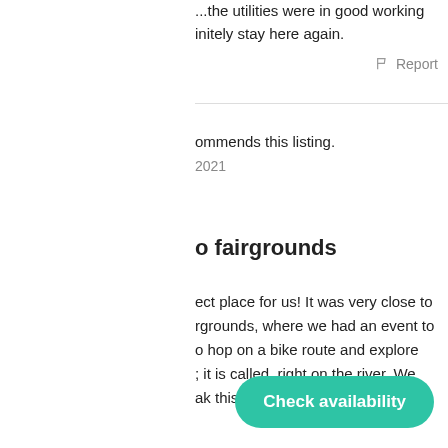...the utilities were in good working order. We would definitely stay here again.
Report
...recommends this listing.
2021
...o fairgrounds
...ect place for us! It was very close to the fairgrounds, where we had an event to attend. Also able to hop on a bike route and explore the town, or whatever it is called, right on the river. We didn't get to do that this time, but we will be back to...
Check availability